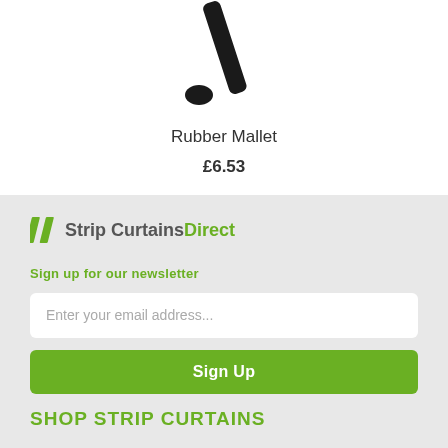[Figure (photo): Rubber mallet tool shown partially, with black handle and rubber head visible against white background]
Rubber Mallet
£6.53
[Figure (logo): Strip Curtains Direct logo with two green diagonal slash marks followed by 'Strip Curtains' in grey bold and 'Direct' in green bold]
Sign up for our newsletter
Enter your email address...
Sign Up
SHOP STRIP CURTAINS